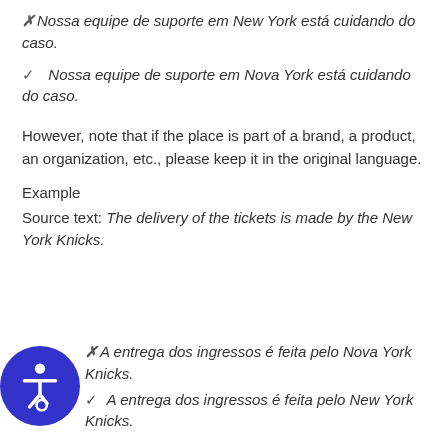✗ Nossa equipe de suporte em New York está cuidando do caso.
✓  Nossa equipe de suporte em Nova York está cuidando do caso.
However, note that if the place is part of a brand, a product, an organization, etc., please keep it in the original language.
Example
Source text: The delivery of the tickets is made by the New York Knicks.
✗ A entrega dos ingressos é feita pelo Nova York Knicks.
✓ A entrega dos ingressos é feita pelo New York Knicks.